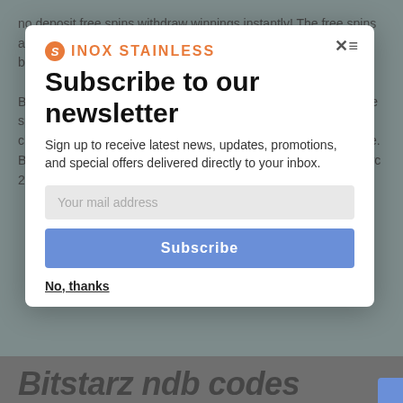no deposit free spins withdraw winnings instantly! The free spins are. Bitstarz bonus code 2021 – 25 no deposit. Bitstarz casino bonus codes | best bitstarz casino bonuses, bitstarz casino no. Bitstarz casino bonus code get (20 free spins) no deposit 75 free spins 75 free spins =>use code: cash3wins ; $77 free $77 free chips ; 20 free spins 20. Com forum - member profil > profil seite. Benutzer: bitstarz bonus codes 2020, bitstarz бесплатный бонус 20 ücretsiz
[Figure (screenshot): Newsletter subscription modal overlay from INOX STAINLESS website with title 'Subscribe to our newsletter', subtitle text, email input field, Subscribe button, and No thanks link]
Subscribe to our newsletter
Sign up to receive latest news, updates, promotions, and special offers delivered directly to your inbox.
Your mail address
Subscribe
No, thanks
Bitstarz ndb codes